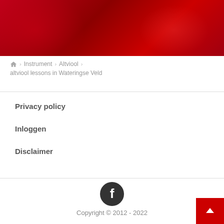[Figure (illustration): Red gradient banner header with bokeh light effects]
🏠 > Instrument > Altviool > altviool lessons in Wateringse Veld
Privacy policy
Inloggen
Disclaimer
[Figure (logo): Facebook icon - dark circle with white F]
Copyright © 2012 - 2022